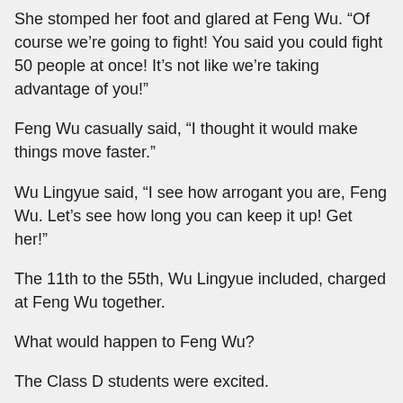She stomped her foot and glared at Feng Wu. “Of course we’re going to fight! You said you could fight 50 people at once! It’s not like we’re taking advantage of you!”
Feng Wu casually said, “I thought it would make things move faster.”
Wu Lingyue said, “I see how arrogant you are, Feng Wu. Let’s see how long you can keep it up! Get her!”
The 11th to the 55th, Wu Lingyue included, charged at Feng Wu together.
What would happen to Feng Wu?
The Class D students were excited.